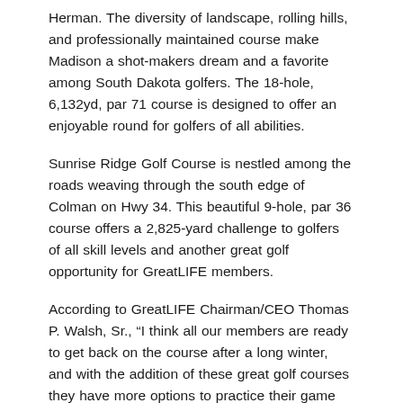Herman. The diversity of landscape, rolling hills, and professionally maintained course make Madison a shot-makers dream and a favorite among South Dakota golfers. The 18-hole, 6,132yd, par 71 course is designed to offer an enjoyable round for golfers of all abilities.
Sunrise Ridge Golf Course is nestled among the roads weaving through the south edge of Colman on Hwy 34. This beautiful 9-hole, par 36 course offers a 2,825-yard challenge to golfers of all skill levels and another great golf opportunity for GreatLIFE members.
According to GreatLIFE Chairman/CEO Thomas P. Walsh, Sr., “I think all our members are ready to get back on the course after a long winter, and with the addition of these great golf courses they have more options to practice their game with friends and family.”
Polish up those clubs, practice your swing and get ready for a great year on the links with GreatLIFE Malaska Golf